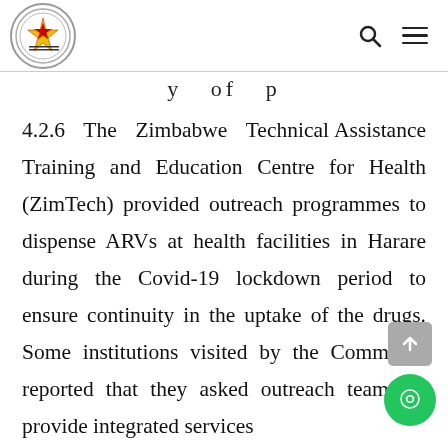[Parliament of Zimbabwe logo] [search icon] [menu icon]
y of p
4.2.6 The Zimbabwe Technical Assistance Training and Education Centre for Health (ZimTech) provided outreach programmes to dispense ARVs at health facilities in Harare during the Covid-19 lockdown period to ensure continuity in the uptake of the drugs. Some institutions visited by the Committee reported that they asked outreach teams to provide integrated services